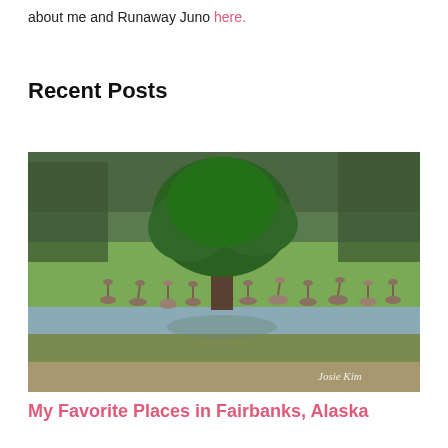about me and Runaway Juno here.
Recent Posts
[Figure (photo): A flock of sandhill cranes gathered near a reflective pond in a green field, with a large green tree in the center background and a forest line behind. Watermark reads 'Josie Kim' in bottom right corner.]
My Favorite Places in Fairbanks, Alaska